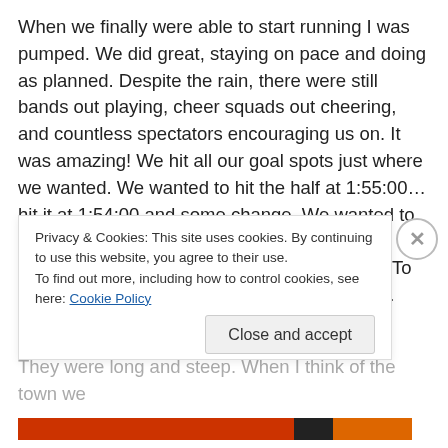When we finally were able to start running I was pumped. We did great, staying on pace and doing as planned. Despite the rain, there were still bands out playing, cheer squads out cheering, and countless spectators encouraging us on. It was amazing! We hit all our goal spots just where we wanted. We wanted to hit the half at 1:55:00…hit it at 1:54:00 and some change. We wanted to hit 20 miles at 3:00:00 or better, and would be thrilled if it were 2:55:00…we hit it at 2:55:00! To be honest, I started struggling around mile 16. The hills were unbelievable. They were long and steep. When I think of the town we
Privacy & Cookies: This site uses cookies. By continuing to use this website, you agree to their use.
To find out more, including how to control cookies, see here: Cookie Policy